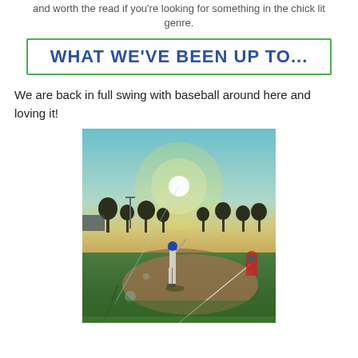and worth the read if you're looking for something in the chick lit genre.
WHAT WE'VE BEEN UP TO...
We are back in full swing with baseball around here and loving it!
[Figure (photo): A young baseball player standing at bat on a baseball field at sunset, with a bright sun and lens flare visible, trees in the background, and a catcher crouching to the right.]